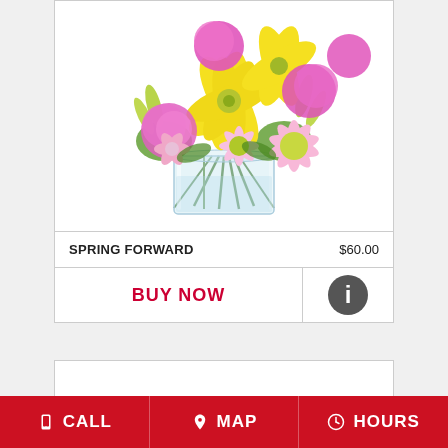[Figure (photo): A floral arrangement in a clear glass vase featuring yellow lilies, pink carnations, pink daisies, and pink alstroemeria with green foliage.]
SPRING FORWARD   $60.00
BUY NOW
[Figure (other): Info icon circle]
CALL   MAP   HOURS